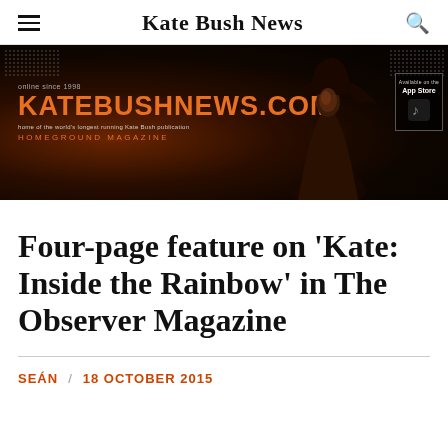Kate Bush News
[Figure (illustration): Kate Bush News website banner with orange KATEBUSHNEWS.COM text on dark background, silhouette of woman in hat on right, Homeground Magazine subtitle]
Four-page feature on 'Kate: Inside the Rainbow' in The Observer Magazine
SEÁN / 18 OCTOBER 2015